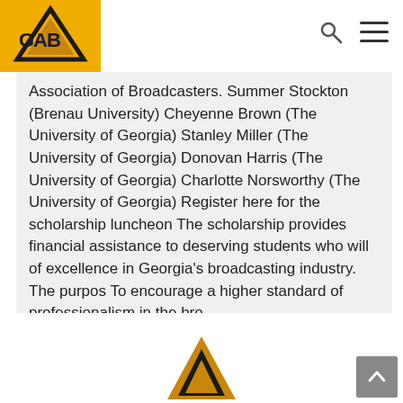GAB logo header with search and menu icons
Association of Broadcasters. Summer Stockton (Brenau University) Cheyenne Brown (The University of Georgia) Stanley Miller (The University of Georgia) Donovan Harris (The University of Georgia) Charlotte Norsworthy (The University of Georgia) Register here for the scholarship luncheon The scholarship provides financial assistance to deserving students who will of excellence in Georgia's broadcasting industry. The purpos To encourage a higher standard of professionalism in the bro
[Figure (logo): GAB logo triangle/arrow mark at bottom center of page]